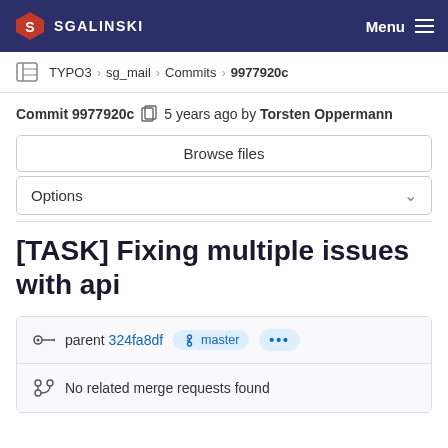SGALINSKI   Menu
TYPO3 > sg_mail > Commits > 9977920c
Commit 9977920c  5 years ago by Torsten Oppermann
Browse files
Options
[TASK] Fixing multiple issues with api
parent 324fa8df  master  ...
No related merge requests found